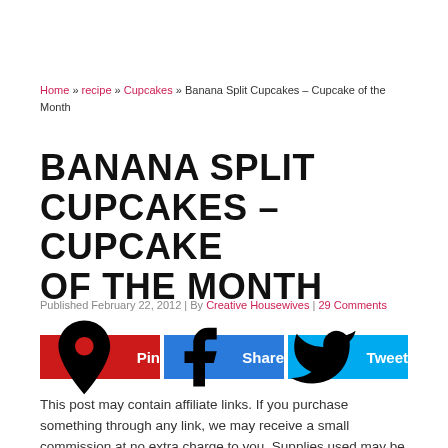Home » recipe » Cupcakes » Banana Split Cupcakes – Cupcake of the Month
BANANA SPLIT CUPCAKES – CUPCAKE OF THE MONTH
Published February 22, 2012 | By Creative Housewives | 29 Comments
[Figure (other): Social sharing buttons: Pin, Share, Tweet]
This post may contain affiliate links. If you purchase something through any link, we may receive a small commission at no extra charge to you. Supplies used may be given to us free of charge, all projects and